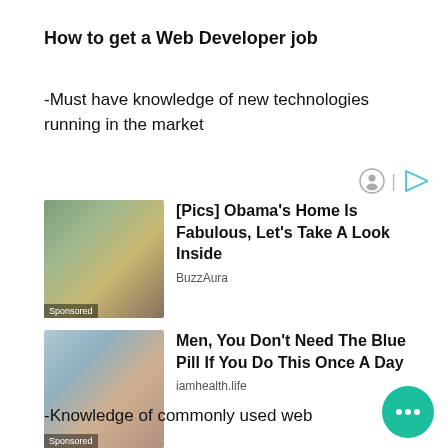How to get a Web Developer job
-Must have knowledge of new technologies running in the market
[Figure (photo): Advertisement with two icons (person icon and play icon) for sponsored content]
[Figure (photo): Sponsored ad image showing people outdoors with 'Sponsored' label]
[Pics] Obama's Home Is Fabulous, Let's Take A Look Inside
BuzzAura
[Figure (photo): Sponsored ad image showing a woman with 'Sponsored' label]
Men, You Don't Need The Blue Pill If You Do This Once A Day
iamhealth.life
-Knowledge of commonly used web